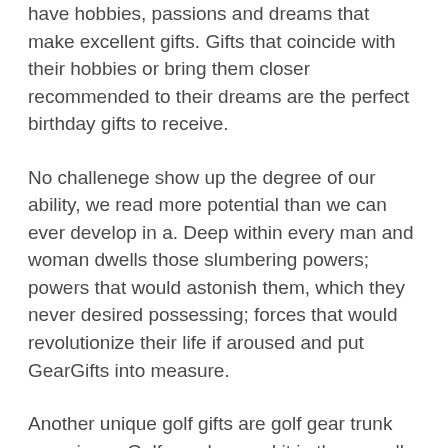have hobbies, passions and dreams that make excellent gifts. Gifts that coincide with their hobbies or bring them closer recommended to their dreams are the perfect birthday gifts to receive.
No challenege show up the degree of our ability, we read more potential than we can ever develop in a. Deep within every man and woman dwells those slumbering powers; powers that would astonish them, which they never desired possessing; forces that would revolutionize their life if aroused and put GearGifts into measure.
Another unique golf gifts are golf gear trunk organizers. Golfers who need it in the overall game will most likely be thrilled to get this. Might select from different styles depending on a financial financial situation. There is an easy style; one level